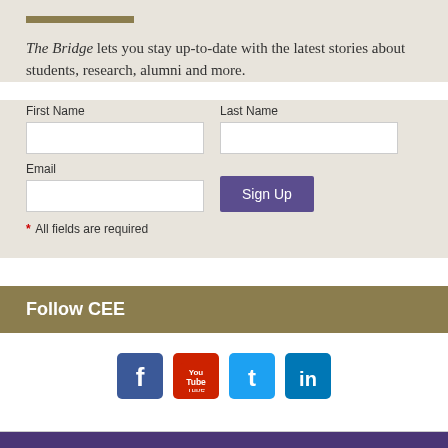The Bridge lets you stay up-to-date with the latest stories about students, research, alumni and more.
[Figure (infographic): Newsletter signup form with First Name, Last Name, Email fields and a Sign Up button. Note says All fields are required.]
Follow CEE
[Figure (infographic): Social media icons: Facebook, YouTube, Twitter, LinkedIn]